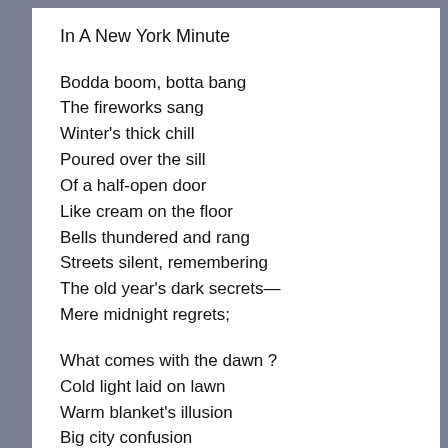In A New York Minute
Bodda boom, botta bang
The fireworks sang
Winter's thick chill
Poured over the sill
Of a half-open door
Like cream on the floor
Bells thundered and rang
Streets silent, remembering
The old year's dark secrets—
Mere midnight regrets;
What comes with the dawn ?
Cold light laid on lawn
Warm blanket's illusion
Big city confusion
A New Year amends
To what never ends